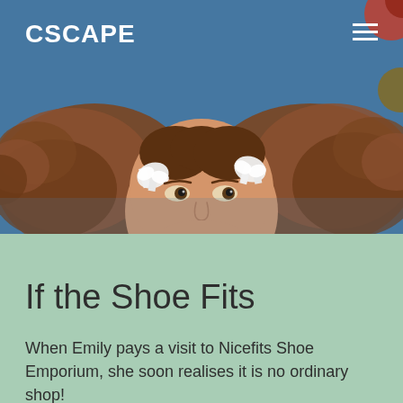[Figure (photo): Woman lying on a blue fabric background with pigtails tied with white ribbons, looking upward with a playful expression. Partially visible shoes or round objects visible at the edges.]
CSCAPE
If the Shoe Fits
When Emily pays a visit to Nicefits Shoe Emporium, she soon realises it is no ordinary shop!